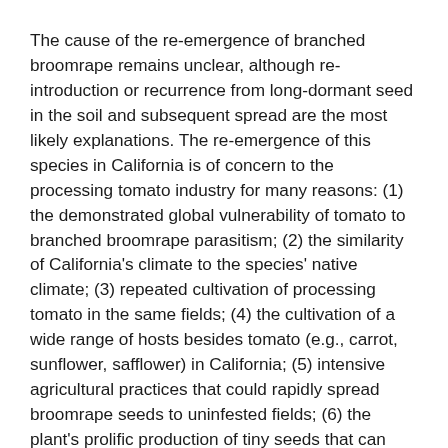The cause of the re-emergence of branched broomrape remains unclear, although re-introduction or recurrence from long-dormant seed in the soil and subsequent spread are the most likely explanations. The re-emergence of this species in California is of concern to the processing tomato industry for many reasons: (1) the demonstrated global vulnerability of tomato to branched broomrape parasitism; (2) the similarity of California's climate to the species' native climate; (3) repeated cultivation of processing tomato in the same fields; (4) the cultivation of a wide range of hosts besides tomato (e.g., carrot, sunflower, safflower) in California; (5) intensive agricultural practices that could rapidly spread broomrape seeds to uninfested fields; (6) the plant's prolific production of tiny seeds that can easily disperse via machinery and irrigation water in the highly mechanized and irrigated cropping systems of California; (7) the ability of seeds to persist in the absence of hosts due to seed longevity of more than 20 years; (8) the difficulty of using conventional means of weed control, such as cultivation and contact herbicides,